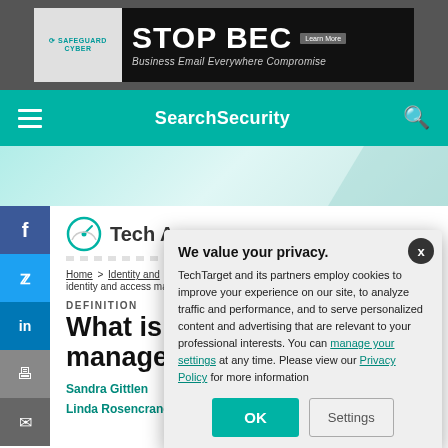[Figure (screenshot): SafeguardCyber advertisement banner: STOP BEC - Business Email Everywhere Compromise with Learn More button]
SearchSecurity
[Figure (screenshot): Tech Accelerator section header with speedometer icon, partially visible]
Home > Identity and ... > identity and access ma...
DEFINITION
What is id... manage...
Sandra Gittlen
Linda Rosencrance
We value your privacy.
TechTarget and its partners employ cookies to improve your experience on our site, to analyze traffic and performance, and to serve personalized content and advertising that are relevant to your professional interests. You can manage your settings at any time. Please view our Privacy Policy for more information